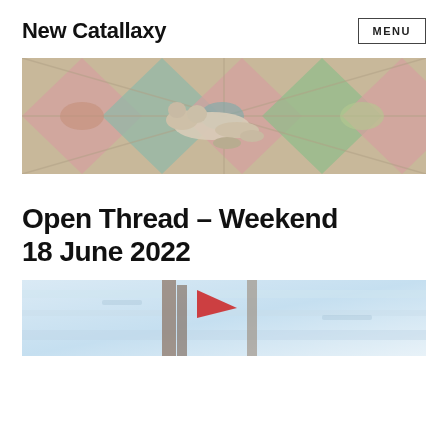New Catallaxy
[Figure (illustration): Classical marble mosaic floor with a reclining stone figure/sculpture lying on an ornate geometric patterned floor with diamond and oval shapes in muted pink, green, and tan tones]
Open Thread – Weekend 18 June 2022
[Figure (illustration): Impressionistic painting of a figure in a light blue-white background with a red accent element, suggesting flags or banners]